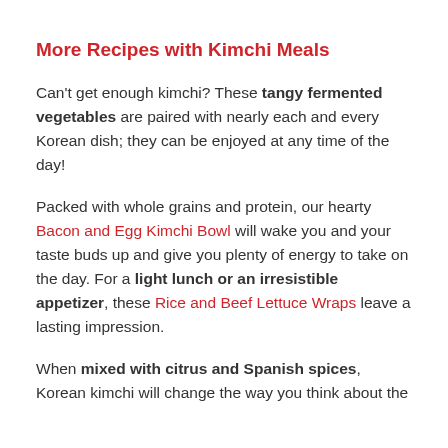More Recipes with Kimchi Meals
Can't get enough kimchi? These tangy fermented vegetables are paired with nearly each and every Korean dish; they can be enjoyed at any time of the day!
Packed with whole grains and protein, our hearty Bacon and Egg Kimchi Bowl will wake you and your taste buds up and give you plenty of energy to take on the day. For a light lunch or an irresistible appetizer, these Rice and Beef Lettuce Wraps leave a lasting impression.
When mixed with citrus and Spanish spices, Korean kimchi will change the way you think about the